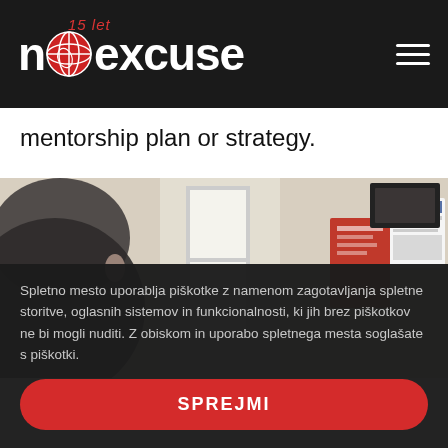noexcuse - 15 let
mentorship plan or strategy.
[Figure (photo): A man's face blurred in foreground, office interior with window, red poster and a Facebook page print visible in background]
Spletno mesto uporablja piškotke z namenom zagotavljanja spletne storitve, oglasnih sistemov in funkcionalnosti, ki jih brez piškotkov ne bi mogli nuditi. Z obiskom in uporabo spletnega mesta soglašate s piškotki.
SPREJMI